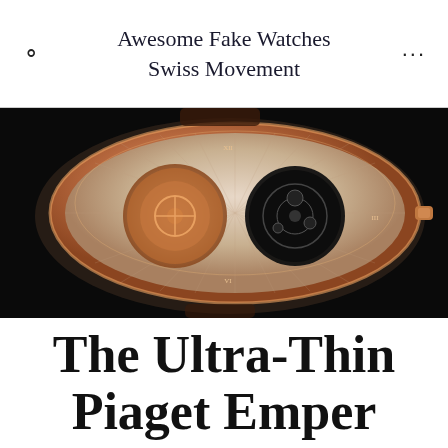Awesome Fake Watches Swiss Movement
[Figure (photo): Close-up photo of a luxury rose gold watch with skeleton dial showing intricate mechanical movement details, dual apertures, and ornate engravings against a black background.]
The Ultra-Thin Piaget Emperador